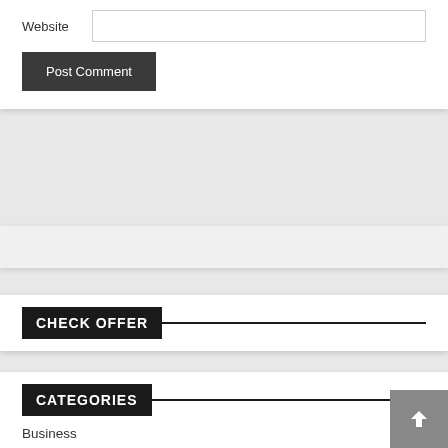Website
Post Comment
CHECK OFFER
CATEGORIES
Business